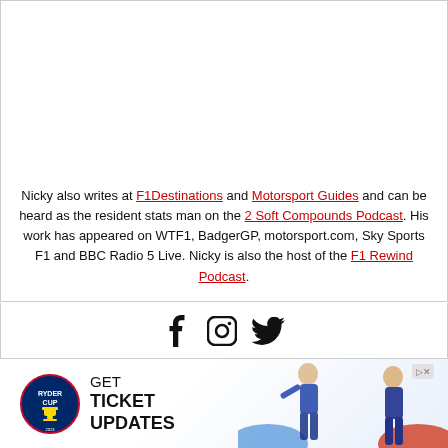Nicky also writes at F1Destinations and Motorsport Guides and can be heard as the resident stats man on the 2 Soft Compounds Podcast. His work has appeared on WTF1, BadgerGP, motorsport.com, Sky Sports F1 and BBC Radio 5 Live. Nicky is also the host of the F1 Rewind Podcast.
[Figure (other): Social media icons: Facebook, Instagram, Twitter]
[Figure (other): Ryder Cup advertisement: GET TICKET UPDATES with Ryder Cup logo and golfer photos]